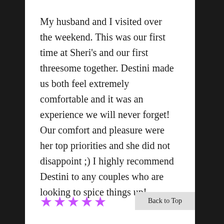My husband and I visited over the weekend. This was our first time at Sheri's and our first threesome together. Destini made us both feel extremely comfortable and it was an experience we will never forget! Our comfort and pleasure were her top priorities and she did not disappoint ;) I highly recommend Destini to any couples who are looking to spice things up!
[Figure (other): Five purple star rating icons]
Back to Top